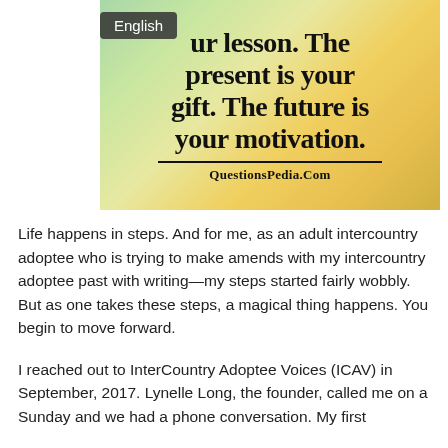[Figure (illustration): Motivational quote image with colorful watercolor background showing text: 'ur lesson. The present is your gift. The future is your motivation.' with QuestionsPedia.Com credit below a dividing line.]
Life happens in steps. And for me, as an adult intercountry adoptee who is trying to make amends with my intercountry adoptee past with writing—my steps started fairly wobbly. But as one takes these steps, a magical thing happens. You begin to move forward.
I reached out to InterCountry Adoptee Voices (ICAV) in September, 2017. Lynelle Long, the founder, called me on a Sunday and we had a phone conversation. My first